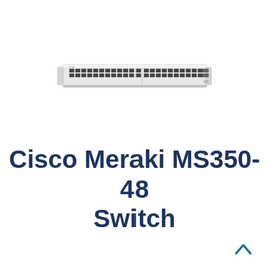[Figure (photo): Cisco Meraki MS350-48 network switch hardware photo showing front panel with 48 ports]
Cisco Meraki MS350-48 Switch
[Figure (other): Upward chevron/arrow navigation icon in teal/dark cyan color at bottom right]